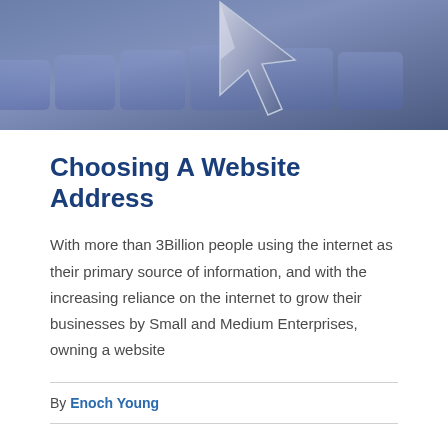[Figure (photo): Close-up photo of a white computer mouse cursor arrow icon on a blue/grey background with keyboard keys visible]
Choosing A Website Address
With more than 3Billion people using the internet as their primary source of information, and with the increasing reliance on the internet to grow their businesses by Small and Medium Enterprises, owning a website
By Enoch Young